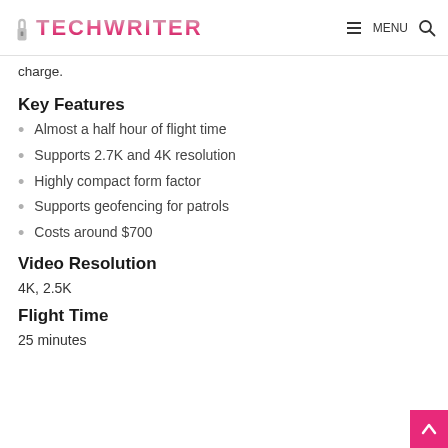TECHWRITER — MENU
charge.
Key Features
Almost a half hour of flight time
Supports 2.7K and 4K resolution
Highly compact form factor
Supports geofencing for patrols
Costs around $700
Video Resolution
4K, 2.5K
Flight Time
25 minutes